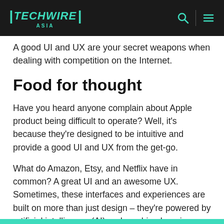TECHWIRE ASIA
A good UI and UX are your secret weapons when dealing with competition on the Internet.
Food for thought
Have you heard anyone complain about Apple product being difficult to operate? Well, it's because they're designed to be intuitive and provide a good UI and UX from the get-go.
What do Amazon, Etsy, and Netflix have in common? A great UI and an awesome UX. Sometimes, these interfaces and experiences are built on more than just design – they're powered by artificial intelligence (AI) and machine learning (ML).